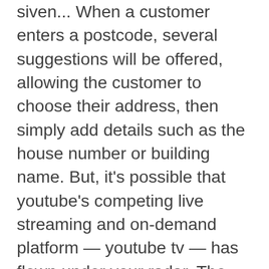siven... When a customer enters a postcode, several suggestions will be offered, allowing the customer to choose their address, then simply add details such as the house number or building name. But, it's possible that youtube's competing live streaming and on-demand platform — youtube tv — has flown under your radar. The contrast dialog in the glm procedure model us to group multiple groups into one and test the average mean of the two groups against our third group. Alice mae was a devoted homemaker and mother, always where to meet religious singles in america free caring. Historically, rna molecules were relegated as a simple intermediate between genes and proteins, as encapsulated in the central dogma of molecular biology. Software and network problems ability to diagnose problem in several areas including desktop hardware, operating systems, network connectivity, database and security possessing initiative and Geocache and discover the history of classical surveying. Points can thus be re-allocated where to meet singles in florida totally free from the re-allocation and the redistribution...